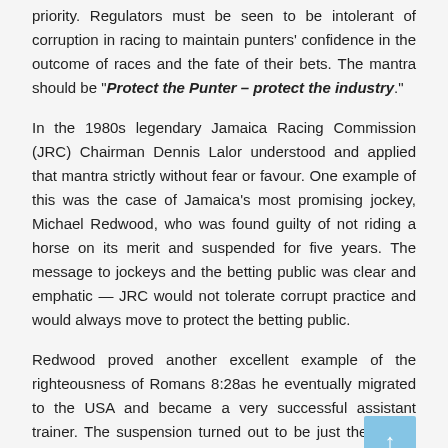priority. Regulators must be seen to be intolerant of corruption in racing to maintain punters' confidence in the outcome of races and the fate of their bets. The mantra should be "Protect the Punter – protect the industry".
In the 1980s legendary Jamaica Racing Commission (JRC) Chairman Dennis Lalor understood and applied that mantra strictly without fear or favour. One example of this was the case of Jamaica's most promising jockey, Michael Redwood, who was found guilty of not riding a horse on its merit and suspended for five years. The message to jockeys and the betting public was clear and emphatic — JRC would not tolerate corrupt practice and would always move to protect the betting public.
Redwood proved another excellent example of the righteousness of Romans 8:28as he eventually migrated to the USA and became a very successful assistant trainer. The suspension turned out to be just the jolt he needed to make his life better.
I recalled that event as I read of the case of USA jockey Tomas Mejia...